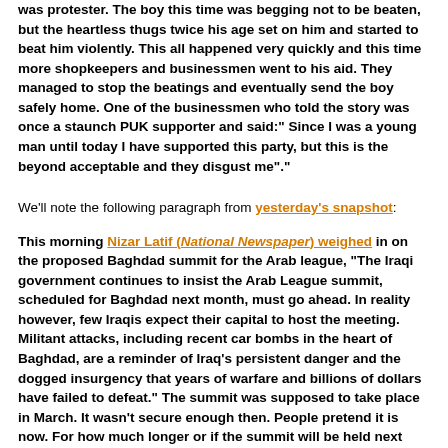was protester. The boy this time was begging not to be beaten, but the heartless thugs twice his age set on him and started to beat him violently. This all happened very quickly and this time more shopkeepers and businessmen went to his aid. They managed to stop the beatings and eventually send the boy safely home. One of the businessmen who told the story was once a staunch PUK supporter and said:" Since I was a young man until today I have supported this party, but this is the beyond acceptable and they disgust me"."
We'll note the following paragraph from yesterday's snapshot:
This morning Nizar Latif (National Newspaper) weighed in on the proposed Baghdad summit for the Arab league, "The Iraqi government continues to insist the Arab League summit, scheduled for Baghdad next month, must go ahead. In reality however, few Iraqis expect their capital to host the meeting. Militant attacks, including recent car bombs in the heart of Baghdad, are a reminder of Iraq's persistent danger and the dogged insurgency that years of warfare and billions of dollars have failed to defeat." The summit was supposed to take place in March. It wasn't secure enough then. People pretend it is now. For how much longer or if the summit will be held next month in Baghdad is unknown. Press TV states Iraq may leave the Arab League. While that's in part, Iran's state media working off a grudge against its Arab neighbors, it's also true that few have a date for did the summit or can guarantee